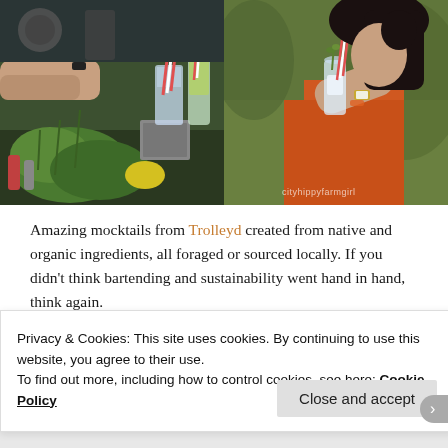[Figure (photo): Two side-by-side photos: left shows a bartender with drinks, herbs, and striped straws at an outdoor station; right shows a woman in orange shirt sipping a drink with a striped straw outdoors.]
Amazing mocktails from Trolleyd created from native and organic ingredients, all foraged or sourced locally. If you didn't think bartending and sustainability went hand in hand, think again.
[Figure (screenshot): Partial screenshot showing 'cityhippyfarmgirl' text with blurred background image.]
Privacy & Cookies: This site uses cookies. By continuing to use this website, you agree to their use.
To find out more, including how to control cookies, see here: Cookie Policy